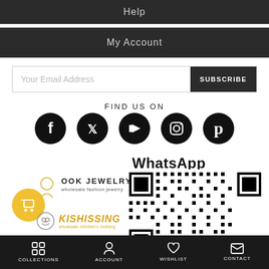Help
My Account
Your Email Address
SUBSCRIBE
FIND US ON
[Figure (infographic): Social media icons: Facebook, Twitter, YouTube, Instagram, Pinterest on black circles]
WhatsApp
[Figure (other): QR code for WhatsApp]
[Figure (logo): OOK JEWELRY wholesale fashion jewelry logo]
[Figure (logo): KISHISSING wholesale children's clothing logo]
COLLECTIONS   ACCOUNT   WISHLIST   CONTACT